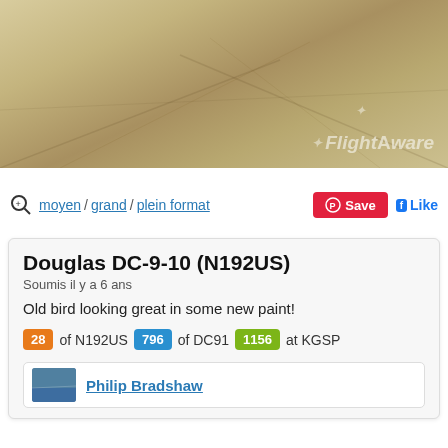[Figure (photo): Aerial/ground photo of airport tarmac/concrete surface with FlightAware watermark]
moyen / grand / plein format
Save
Like
Douglas DC-9-10 (N192US)
Soumis il y a 6 ans
Old bird looking great in some new paint!
28 of N192US   796 of DC91   1156 at KGSP
Philip Bradshaw